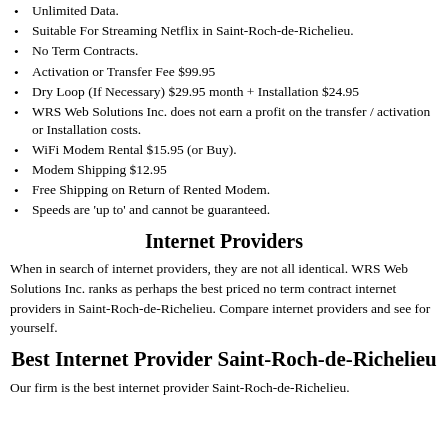Unlimited Data.
Suitable For Streaming Netflix in Saint-Roch-de-Richelieu.
No Term Contracts.
Activation or Transfer Fee $99.95
Dry Loop (If Necessary) $29.95 month + Installation $24.95
WRS Web Solutions Inc. does not earn a profit on the transfer / activation or Installation costs.
WiFi Modem Rental $15.95 (or Buy).
Modem Shipping $12.95
Free Shipping on Return of Rented Modem.
Speeds are 'up to' and cannot be guaranteed.
Internet Providers
When in search of internet providers, they are not all identical. WRS Web Solutions Inc. ranks as perhaps the best priced no term contract internet providers in Saint-Roch-de-Richelieu. Compare internet providers and see for yourself.
Best Internet Provider Saint-Roch-de-Richelieu
Our firm is the best internet provider Saint-Roch-de-Richelieu.